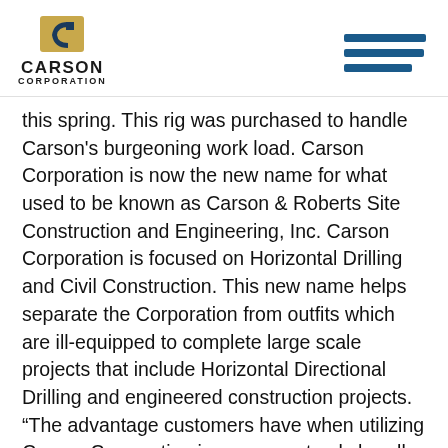[Figure (logo): Carson Corporation logo with stylized C icon above bold text CARSON CORPORATION]
this spring. This rig was purchased to handle Carson's burgeoning work load. Carson Corporation is now the new name for what used to be known as Carson & Roberts Site Construction and Engineering, Inc. Carson Corporation is focused on Horizontal Drilling and Civil Construction. This new name helps separate the Corporation from outfits which are ill-equipped to complete large scale projects that include Horizontal Directional Drilling and engineered construction projects. “The advantage customers have when utilizing Carson Corporation is we can not only handle single drill projects, but also jobs that include large scale civil construction designs that also have HDD’s